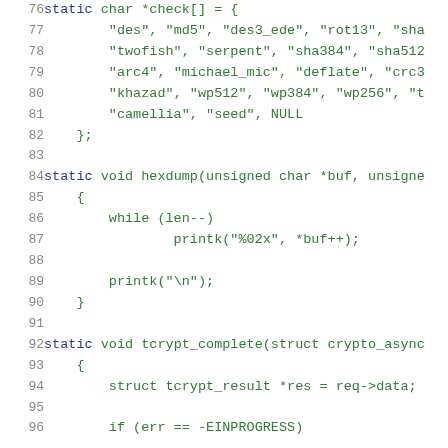[Figure (screenshot): Source code listing in C (lines 76–96) showing a static char array 'check[]' of algorithm name strings, a hexdump function, and the beginning of a tcrypt_complete function. Line numbers shown in grey on the left, code in blue/green monospace font.]